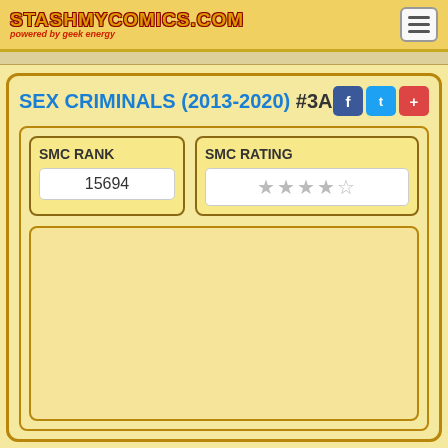STASHMYCOMICS.COM powered by geek energy
SEX CRIMINALS (2013-2020) #3A
SMC RANK 15694
SMC RATING (4 stars)
[Figure (other): Empty content area placeholder]